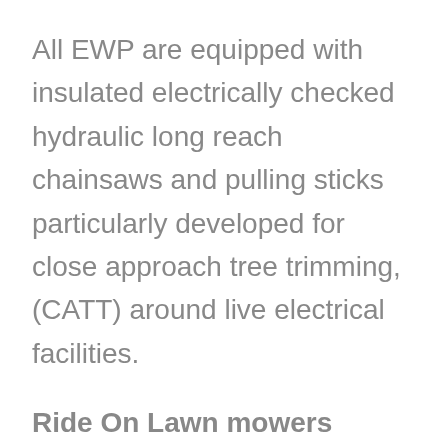All EWP are equipped with insulated electrically checked hydraulic long reach chainsaws and pulling sticks particularly developed for close approach tree trimming, (CATT) around live electrical facilities.
Ride On Lawn mowers
With our fleet of ride on mowers, our team makes carrying out your grounds maintenance simple, quick and safe. All